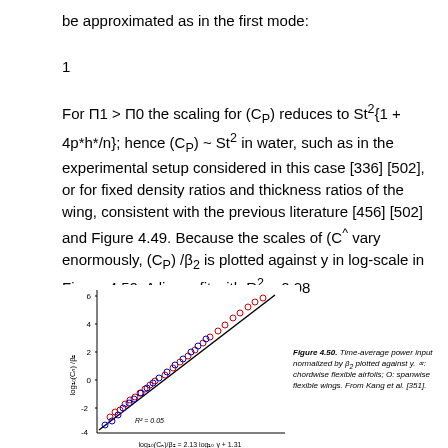be approximated as in the first mode:
For Π1 > Π0 the scaling for (CP) reduces to St2{1 + 4p*h*/n}; hence (CP) ~ St2 in water, such as in the experimental setup considered in this case [336] [502], or for fixed density ratios and thickness ratios of the wing, consistent with the previous literature [456] [502] and Figure 4.49. Because the scales of (C^ vary enormously, (CP) /β2 is plotted against y in log-scale in Figure 4.50. A linear fit with R2 = 0.98
[Figure (scatter-plot): Scatter plot of log10(Cp)/β2 against y in log-scale with a linear fit (R2=0.98). Red circles (chordwise flexible airfoils) and blue circles (spanwise flexible wings) with black linear fit line. R2 = 0.05 annotation also visible.]
Figure 4.50. Time-average power input normalized by β2 plotted against y. ∝: chordwise flexible airfoils; O: spanwise flexible wings. From Kang et al. [351].